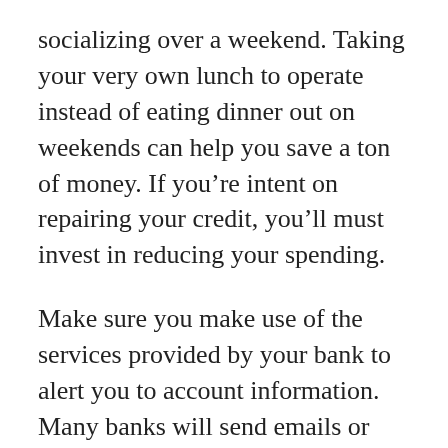socializing over a weekend. Taking your very own lunch to operate instead of eating dinner out on weekends can help you save a ton of money. If you’re intent on repairing your credit, you’ll must invest in reducing your spending.
Make sure you make use of the services provided by your bank to alert you to account information. Many banks will send emails or texts if you have activity reported on the account. Alerts that let you recognize a minimal balance or perhaps a large withdrawal will assist you to from overdrafts or fraud.